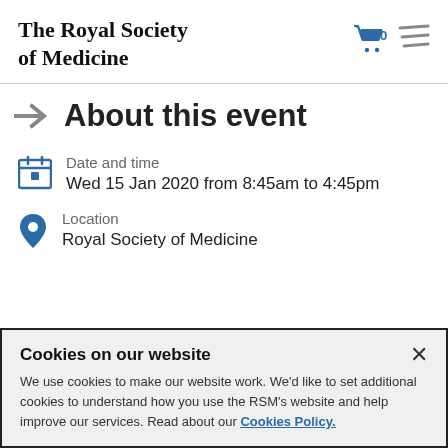The Royal Society of Medicine
About this event
Date and time
Wed 15 Jan 2020 from 8:45am to 4:45pm
Location
Royal Society of Medicine
Cookies on our website
We use cookies to make our website work. We'd like to set additional cookies to understand how you use the RSM's website and help improve our services. Read about our Cookies Policy.